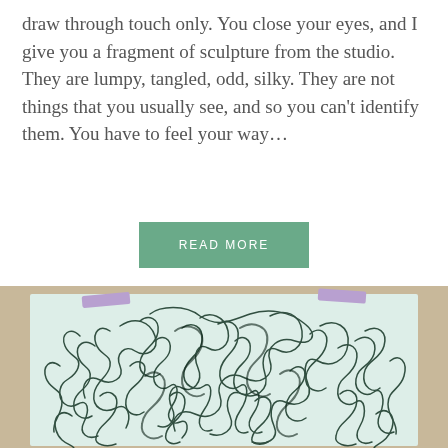draw through touch only. You close your eyes, and I give you a fragment of sculpture from the studio. They are lumpy, tangled, odd, silky. They are not things that you usually see, and so you can't identify them. You have to feel your way...
READ MORE
[Figure (photo): A photograph of a piece of paper taped at the corners with purple tape, showing a dense, tangled, curly dark drawing or print — resembling intertwined organic forms in dark green/black ink on a light teal-white background.]